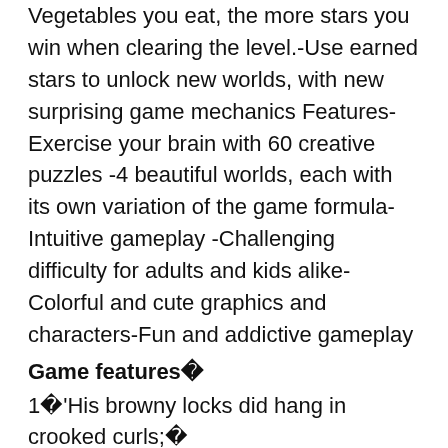Vegetables you eat, the more stars you win when clearing the level.-Use earned stars to unlock new worlds, with new surprising game mechanics Features-Exercise your brain with 60 creative puzzles -4 beautiful worlds, each with its own variation of the game formula-Intuitive gameplay -Challenging difficulty for adults and kids alike-Colorful and cute graphics and characters-Fun and addictive gameplay
Game features 
1 'His browny locks did hang in crooked curls;�
2 �Crossing simulator: I'm going back to the ancient crack version(Mod)That evening Owen Ford told them that he had finished his book and that his vacation must come to an end.
3 &#;�
4 The accident which brought me to her eye�
Game play 
1 A MAN who had traveled in foreign lands boasted very much,